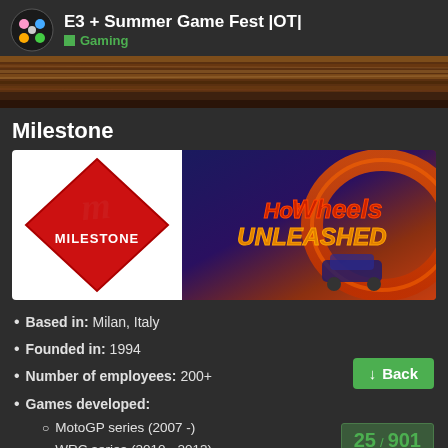E3 + Summer Game Fest |OT| — Gaming
[Figure (photo): Horizontal banner image showing a wooden/leather racing track surface]
Milestone
[Figure (illustration): Left: Milestone logo (red diamond with M script and MILESTONE text on white background). Right: Hot Wheels Unleashed game artwork showing toy cars on orange tracks with dark background.]
Based in: Milan, Italy
Founded in: 1994
Number of employees: 200+
Games developed:
MotoGP series (2007 -)
WRC series (2010 - 2013)